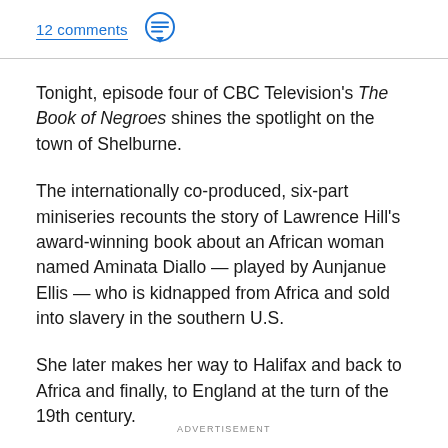12 comments
Tonight, episode four of CBC Television's The Book of Negroes shines the spotlight on the town of Shelburne.
The internationally co-produced, six-part miniseries recounts the story of Lawrence Hill's award-winning book about an African woman named Aminata Diallo — played by Aunjanue Ellis — who is kidnapped from Africa and sold into slavery in the southern U.S.
She later makes her way to Halifax and back to Africa and finally, to England at the turn of the 19th century.
ADVERTISEMENT